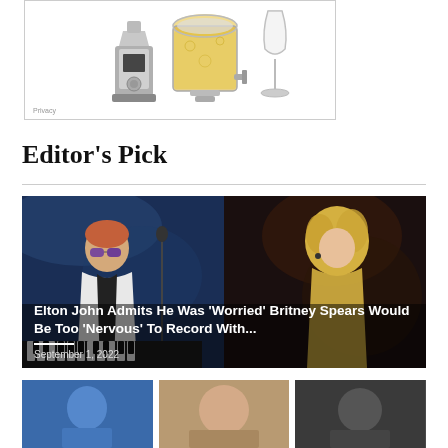[Figure (photo): Advertisement box showing kitchen appliances: a blender/food processor, a large beverage dispenser with yellow liquid, and a wine glass. Text 'Learn more' at top left and 'Privacy' at bottom left.]
Editor's Pick
[Figure (photo): Featured article image showing Elton John performing at a piano on the left side and Britney Spears performing on the right side, with overlaid article title 'Elton John Admits He Was ‘Worried’ Britney Spears Would Be Too ‘Nervous’ To Record With...' and date 'September 1, 2022']
Elton John Admits He Was ‘Worried’ Britney Spears Would Be Too ‘Nervous’ To Record With...
September 1, 2022
[Figure (photo): Row of three thumbnail images at the bottom of the page]